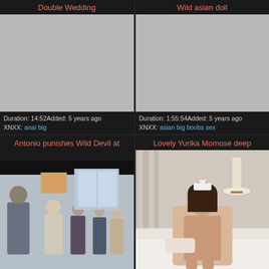Double Wedding
[Figure (photo): Gray placeholder thumbnail for Double Wedding video]
Duration: 14:52Added: 5 years ago XNXX: anal big
Wild asian doll
[Figure (photo): Gray placeholder thumbnail for Wild asian doll video]
Duration: 1:55:54Added: 5 years ago XNXX: asian big boobs sex
Antonio punishes Wild Devil at
[Figure (photo): Photo thumbnail showing people in a room, older man with group watching]
Lovely Yurika Momose deep
[Figure (photo): Photo thumbnail showing woman sitting on couch in nurse outfit]